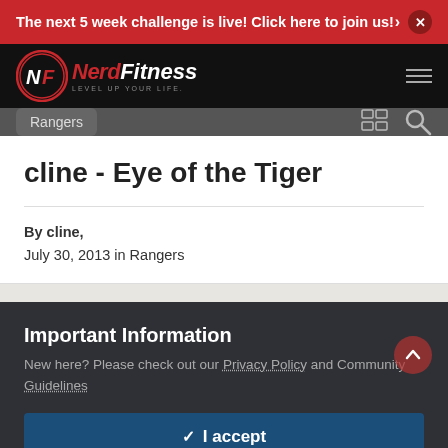The next 5 week challenge is live! Click here to join us!
[Figure (logo): Nerd Fitness logo with circular NF emblem and tagline LEVEL UP YOUR LIFE]
Rangers
cline - Eye of the Tiger
By cline,
July 30, 2013 in Rangers
Important Information
New here? Please check out our Privacy Policy and Community Guidelines
✓  I accept